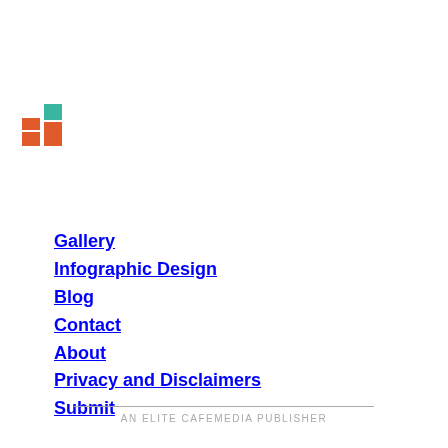[Figure (logo): Three colored bar chart logo icon: orange, teal, and red-orange bars of varying heights arranged in a small grid pattern]
Gallery
Infographic Design
Blog
Contact
About
Privacy and Disclaimers
Submit
AN ELITE CAFEMEDIA PUBLISHER